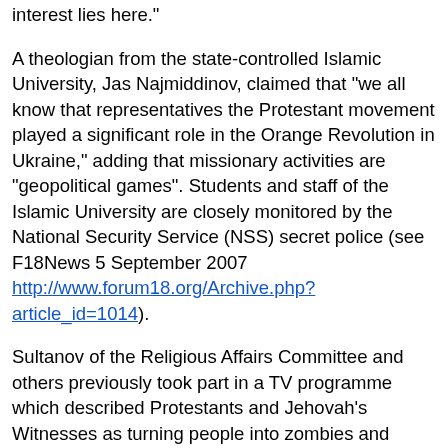interest lies here."
A theologian from the state-controlled Islamic University, Jas Najmiddinov, claimed that "we all know that representatives the Protestant movement played a significant role in the Orange Revolution in Ukraine," adding that missionary activities are "geopolitical games". Students and staff of the Islamic University are closely monitored by the National Security Service (NSS) secret police (see F18News 5 September 2007 http://www.forum18.org/Archive.php?article_id=1014).
Sultanov of the Religious Affairs Committee and others previously took part in a TV programme which described Protestants and Jehovah's Witnesses as turning people into zombies and driving them into psychiatric hospitals. Religious minorities told Forum 18 that they noticed levels of intolerance in Uzbek society increased after that film (see F18News 19 December 2006 http://www.forum18.org/Archive.php?article_id=890).
The latest film showed film of meetings in religious